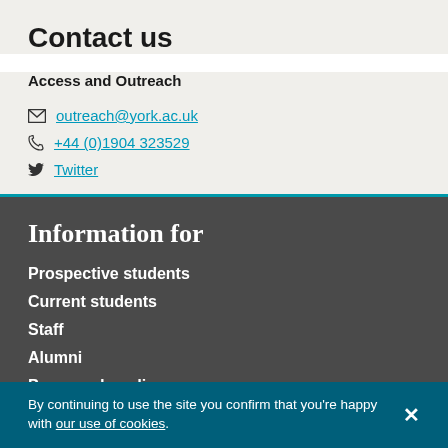Contact us
Access and Outreach
outreach@york.ac.uk
+44 (0)1904 323529
Twitter
Information for
Prospective students
Current students
Staff
Alumni
Press and media
By continuing to use the site you confirm that you're happy with our use of cookies.